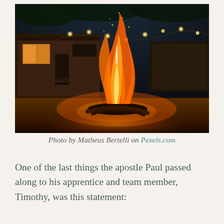[Figure (photo): A large bonfire burning outdoors at night, with a camper/RV and string lights visible in the background. The fire illuminates the surrounding grass with warm orange light.]
Photo by Matheus Bertelli on Pexels.com
One of the last things the apostle Paul passed along to his apprentice and team member, Timothy, was this statement: